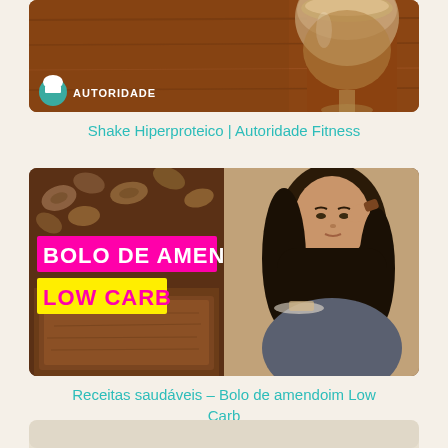[Figure (photo): Photo of a high-protein shake in a glass on a wooden table with 'AUTORIDADE' logo watermark in the bottom left corner]
Shake Hiperproteico | Autoridade Fitness
[Figure (photo): Photo split into two panels: left shows peanut cake slices with walnuts and overlay text 'BOLO DE AMENDOIM LOW CARB' in pink/magenta on yellow banner; right shows a woman eating a piece of cake]
Receitas saudáveis – Bolo de amendoim Low Carb
[Figure (photo): Partial view of a third card at the bottom of the page]